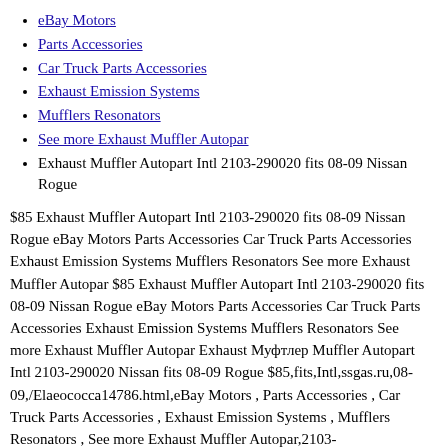eBay Motors
Parts Accessories
Car Truck Parts Accessories
Exhaust Emission Systems
Mufflers Resonators
See more Exhaust Muffler Autopar
Exhaust Muffler Autopart Intl 2103-290020 fits 08-09 Nissan Rogue
$85 Exhaust Muffler Autopart Intl 2103-290020 fits 08-09 Nissan Rogue eBay Motors Parts Accessories Car Truck Parts Accessories Exhaust Emission Systems Mufflers Resonators See more Exhaust Muffler Autopar $85 Exhaust Muffler Autopart Intl 2103-290020 fits 08-09 Nissan Rogue eBay Motors Parts Accessories Car Truck Parts Accessories Exhaust Emission Systems Mufflers Resonators See more Exhaust Muffler Autopar Exhaust Муфтлер Muffler Autopart Intl 2103-290020 Nissan fits 08-09 Rogue $85,fits,Intl,ssgas.ru,08-09,/Elaeococca14786.html,eBay Motors , Parts Accessories , Car Truck Parts Accessories , Exhaust Emission Systems , Mufflers Resonators , See more Exhaust Muffler Autopar,2103-290020,Autopart,Muffler,Nissan,Rogue,Exhaust $85,fits,Intl,ssgas.ru,08-09,/Elaeococca14786.html,eBay Motors , Parts Accessories , Car Truck Parts Accessories , Exhaust Emission Systems , Mufflers Resonators , See more Exhaust Muffler